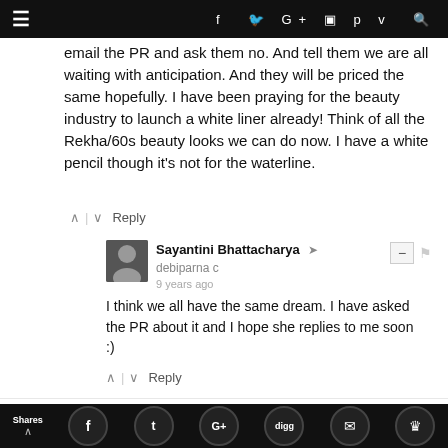≡  f  t  G+  ◻  p  v  🔍
email the PR and ask them no. And tell them we are all waiting with anticipation. And they will be priced the same hopefully. I have been praying for the beauty industry to launch a white liner already! Think of all the Rekha/60s beauty looks we can do now. I have a white pencil though it's not for the waterline.
Sayantini Bhattacharya → debiparna c  9 years ago
I think we all have the same dream. I have asked the PR about it and I hope she replies to me soon :)
Sayantini Bhattacharya  9 years ago
Same here Shayoni! I hope I get it soon. Thanks for stopping by :)
Shares  f  t  G+  digg  ✉  ♛  Reply